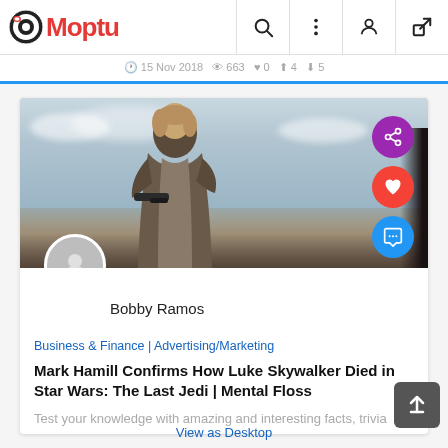Moptu
15 Nov 2018  663  0  4  5
[Figure (screenshot): Screenshot of Moptu social sharing website showing a movie still from Star Wars: The Last Jedi with Luke Skywalker figure, with share/like/comment buttons overlaid, posted by Bobby Ramos]
Bobby Ramos
Business & Finance | Advertising/Marketing
Mark Hamill Confirms How Luke Skywalker Died in Star Wars: The Last Jedi | Mental Floss
Test your knowledge with amazing and interesting facts, trivia
View as Desktop